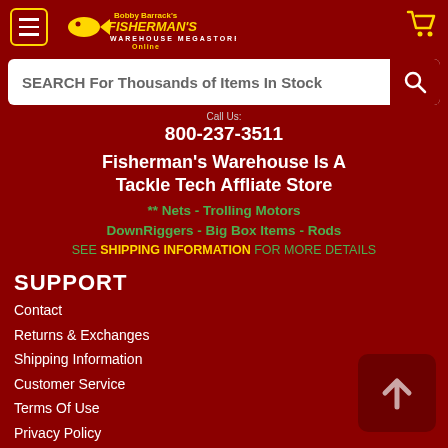Fisherman's Warehouse Online - Header Navigation
SEARCH For Thousands of Items In Stock
800-237-3511
Fisherman's Warehouse Is A Tackle Tech Affliate Store
** Nets - Trolling Motors
DownRiggers - Big Box Items - Rods
SEE SHIPPING INFORMATION FOR MORE DETAILS
SUPPORT
Contact
Returns & Exchanges
Shipping Information
Customer Service
Terms Of Use
Privacy Policy
California Law Compliance